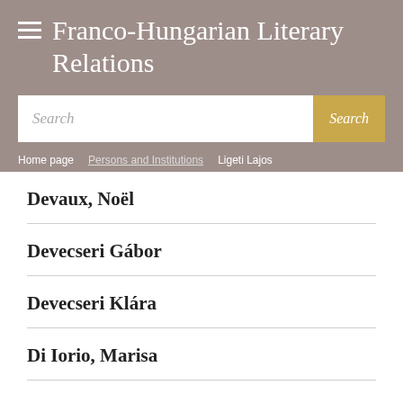Franco-Hungarian Literary Relations
Search
Home page | Persons and Institutions | Ligeti Lajos
Devaux, Noël
Devecseri Gábor
Devecseri Klára
Di Iorio, Marisa